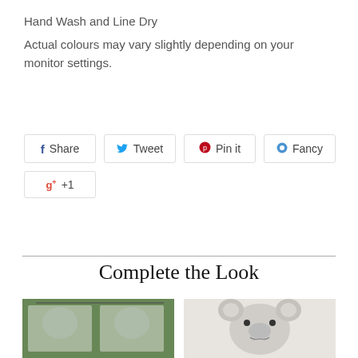Hand Wash and Line Dry
Actual colours may vary slightly depending on your monitor settings.
[Figure (infographic): Social sharing buttons: Facebook Share, Twitter Tweet, Pinterest Pin it, Fancy, and Google +1]
Complete the Look
[Figure (photo): Two product photos side by side: left shows children's clothing items hanging on a line outdoors among trees; right shows a koala plush toy on a light background.]